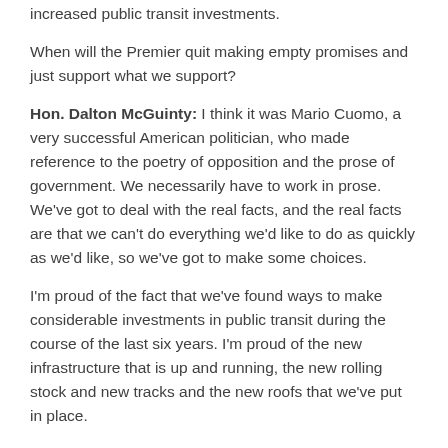increased public transit investments.
When will the Premier quit making empty promises and just support what we support?
Hon. Dalton McGuinty: I think it was Mario Cuomo, a very successful American politician, who made reference to the poetry of opposition and the prose of government. We necessarily have to work in prose. We've got to deal with the real facts, and the real facts are that we can't do everything we'd like to do as quickly as we'd like, so we've got to make some choices.
I'm proud of the fact that we've found ways to make considerable investments in public transit during the course of the last six years. I'm proud of the new infrastructure that is up and running, the new rolling stock and new tracks and the new roofs that we've put in place.
The fact of the matter is, we've had to make an adjustment, given the consequences of the great